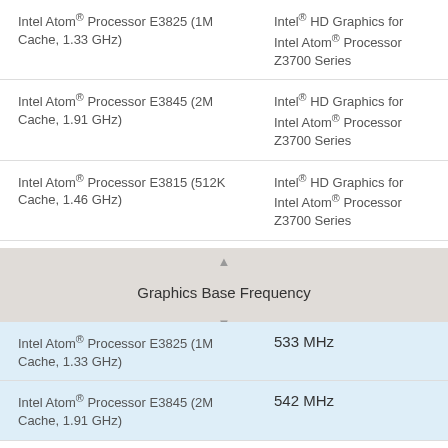| Processor | Graphics |
| --- | --- |
| Intel Atom® Processor E3825 (1M Cache, 1.33 GHz) | Intel® HD Graphics for Intel Atom® Processor Z3700 Series |
| Intel Atom® Processor E3845 (2M Cache, 1.91 GHz) | Intel® HD Graphics for Intel Atom® Processor Z3700 Series |
| Intel Atom® Processor E3815 (512K Cache, 1.46 GHz) | Intel® HD Graphics for Intel Atom® Processor Z3700 Series |
| Intel Atom® Processor E3827 (1M Cache, 1.75 GHz) | Intel® HD Graphics for Intel Atom® Processor Z3700 Series |
Graphics Base Frequency
| Processor | Frequency |
| --- | --- |
| Intel Atom® Processor E3825 (1M Cache, 1.33 GHz) | 533 MHz |
| Intel Atom® Processor E3845 (2M Cache, 1.91 GHz) | 542 MHz |